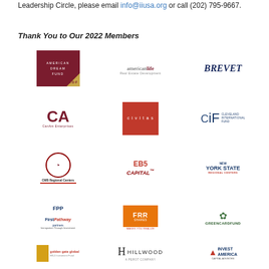Leadership Circle, please email info@iiusa.org or call (202) 795-9667.
Thank You to Our 2022 Members
[Figure (logo): American Dream Fund (ADF) logo - dark red background with white text]
[Figure (logo): americanlife Real Estate Development logo]
[Figure (logo): BREVET logo in dark blue bold italic]
[Figure (logo): CanAm Enterprises logo with CA monogram in dark red]
[Figure (logo): civitas logo - white text on red square]
[Figure (logo): CiF Cleveland International Fund logo]
[Figure (logo): CMB Regional Centers logo with circular emblem]
[Figure (logo): EB5 Capital logo with capitol building icon]
[Figure (logo): New York State Regional Centers logo]
[Figure (logo): FPP First Pathway Partners logo]
[Figure (logo): FRR Shares logo on orange background]
[Figure (logo): GreenCardFund logo with green floral emblem]
[Figure (logo): golden gate global EB-5 Investment Fund logo]
[Figure (logo): HILLWOOD A PEROT Company logo]
[Figure (logo): Invest America Capital Advisors logo]